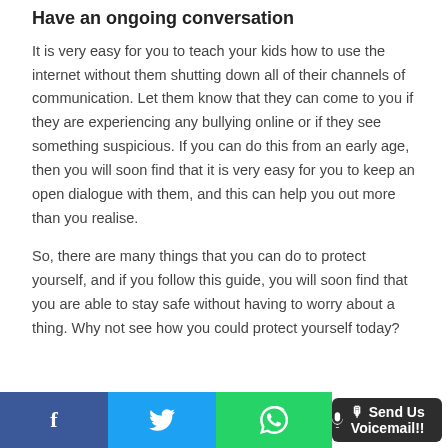Have an ongoing conversation
It is very easy for you to teach your kids how to use the internet without them shutting down all of their channels of communication. Let them know that they can come to you if they are experiencing any bullying online or if they see something suspicious. If you can do this from an early age, then you will soon find that it is very easy for you to keep an open dialogue with them, and this can help you out more than you realise.
So, there are many things that you can do to protect yourself, and if you follow this guide, you will soon find that you are able to stay safe without having to worry about a thing. Why not see how you could protect yourself today?
f | Twitter icon | WhatsApp icon | Send Us Voicemail!!